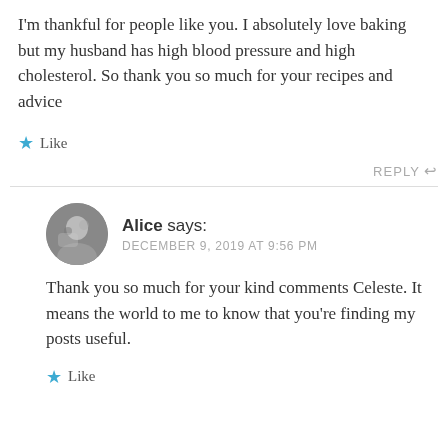I'm thankful for people like you. I absolutely love baking but my husband has high blood pressure and high cholesterol. So thank you so much for your recipes and advice
★ Like
REPLY ↩
Alice says: DECEMBER 9, 2019 AT 9:56 PM
Thank you so much for your kind comments Celeste. It means the world to me to know that you're finding my posts useful.
★ Like